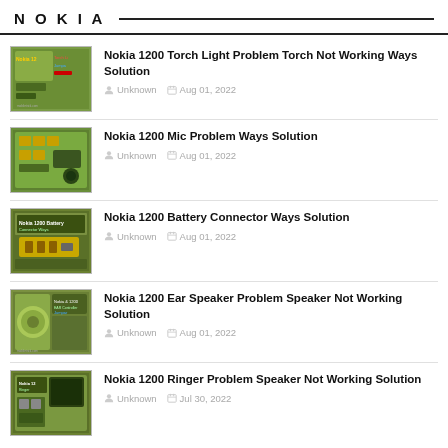NOKIA
Nokia 1200 Torch Light Problem Torch Not Working Ways Solution
Unknown  Aug 01, 2022
Nokia 1200 Mic Problem Ways Solution
Unknown  Aug 01, 2022
Nokia 1200 Battery Connector Ways Solution
Unknown  Aug 01, 2022
Nokia 1200 Ear Speaker Problem Speaker Not Working Solution
Unknown  Aug 01, 2022
Nokia 1200 Ringer Problem Speaker Not Working Solution
Unknown  Jul 30, 2022